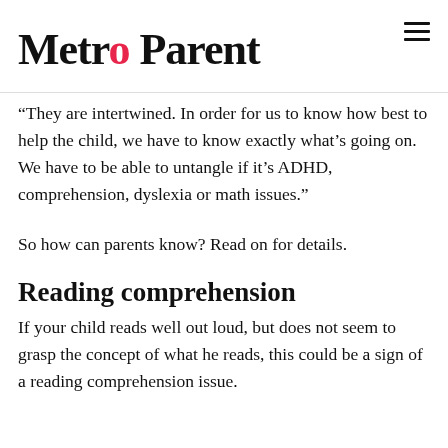Metro Parent
“They are intertwined. In order for us to know how best to help the child, we have to know exactly what’s going on. We have to be able to untangle if it’s ADHD, comprehension, dyslexia or math issues.”
So how can parents know? Read on for details.
Reading comprehension
If your child reads well out loud, but does not seem to grasp the concept of what he reads, this could be a sign of a reading comprehension issue.